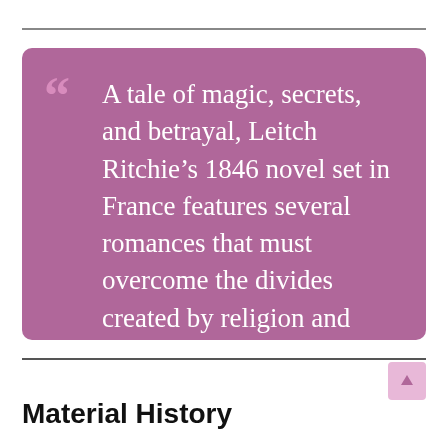A tale of magic, secrets, and betrayal, Leitch Ritchie’s 1846 novel set in France features several romances that must overcome the divides created by religion and class, while trust is tested by unknown foes with sinister motives
Material History